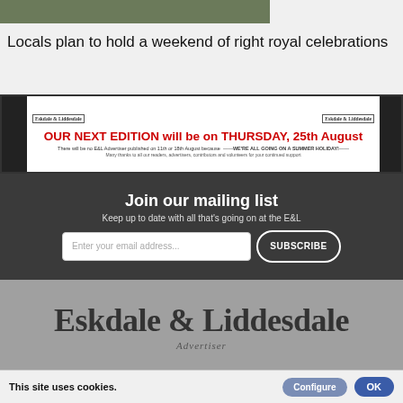[Figure (photo): Partial photo of outdoor/nature scene, green and brown tones, cropped at top of page]
Locals plan to hold a weekend of right royal celebrations
[Figure (infographic): Banner announcement: OUR NEXT EDITION will be on THURSDAY, 25th August. There will be no E&L Advertiser published on 11th or 18th August because ——WE'RE ALL GOING ON A SUMMER HOLIDAY!—— Many thanks to all our readers, advertisers, contributors and volunteers for your continued support. Eskdale & Liddesdale logos on left and right.]
Join our mailing list
Keep up to date with all that's going on at the E&L
[Figure (screenshot): Email input field and Subscribe button on dark background]
[Figure (logo): Eskdale & Liddesdale Advertiser logo in blackletter font on grey background]
This site uses cookies.